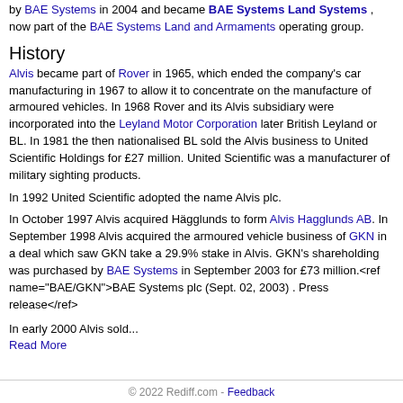by BAE Systems in 2004 and became BAE Systems Land Systems , now part of the BAE Systems Land and Armaments operating group.
History
Alvis became part of Rover in 1965, which ended the company's car manufacturing in 1967 to allow it to concentrate on the manufacture of armoured vehicles. In 1968 Rover and its Alvis subsidiary were incorporated into the Leyland Motor Corporation later British Leyland or BL. In 1981 the then nationalised BL sold the Alvis business to United Scientific Holdings for £27 million. United Scientific was a manufacturer of military sighting products.
In 1992 United Scientific adopted the name Alvis plc.
In October 1997 Alvis acquired Hägglunds to form Alvis Hagglunds AB. In September 1998 Alvis acquired the armoured vehicle business of GKN in a deal which saw GKN take a 29.9% stake in Alvis. GKN's shareholding was purchased by BAE Systems in September 2003 for £73 million.<ref name="BAE/GKN">BAE Systems plc (Sept. 02, 2003) . Press release</ref>
In early 2000 Alvis sold...
Read More
© 2022 Rediff.com - Feedback